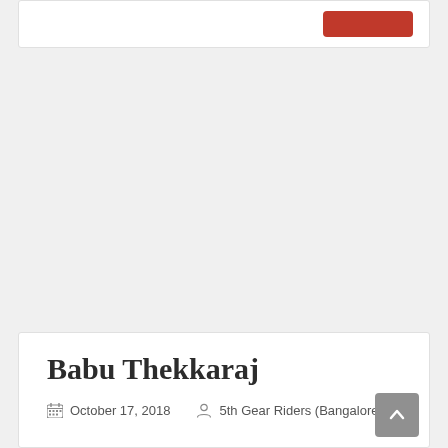Babu Thekkaraj
October 17, 2018   5th Gear Riders (Bangalore)